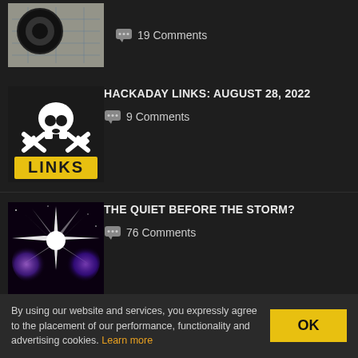[Figure (photo): Partial thumbnail of a technical/engineering item with black cable on blueprints]
19 Comments
[Figure (illustration): Hackaday Links logo: skull and crossbones with wrenches, yellow LINKS text on black background]
HACKADAY LINKS: AUGUST 28, 2022
9 Comments
[Figure (illustration): The Quiet Before the Storm? - galaxy/space illustration with starburst overlay]
THE QUIET BEFORE THE STORM?
76 Comments
[Figure (photo): Partial thumbnail for Hackaday Podcast 183 with logo]
HACKADAY PODCAST 183:
By using our website and services, you expressly agree to the placement of our performance, functionality and advertising cookies. Learn more